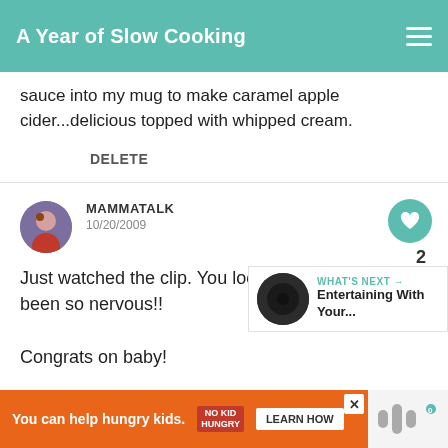A Year of Slow Cooking
sauce into my mug to make caramel apple cider...delicious topped with whipped cream.
DELETE
MAMMATALK
10/20/2009
Just watched the clip. You look great. I woul have been so nervous!!

Congrats on baby!
[Figure (screenshot): WHAT'S NEXT arrow. Entertaining With Your...]
[Figure (infographic): Advertisement banner: You can help hungry kids. No Kid Hungry. Learn How.]